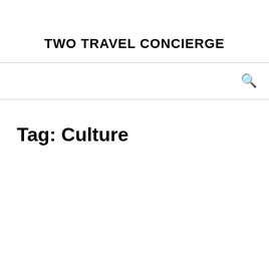TWO TRAVEL CONCIERGE
Tag: Culture